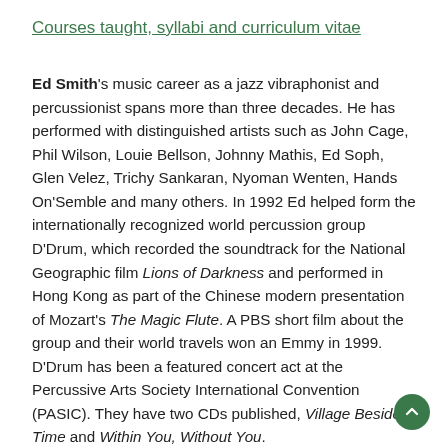Courses taught, syllabi and curriculum vitae
Ed Smith's music career as a jazz vibraphonist and percussionist spans more than three decades. He has performed with distinguished artists such as John Cage, Phil Wilson, Louie Bellson, Johnny Mathis, Ed Soph, Glen Velez, Trichy Sankaran, Nyoman Wenten, Hands On'Semble and many others. In 1992 Ed helped form the internationally recognized world percussion group D'Drum, which recorded the soundtrack for the National Geographic film Lions of Darkness and performed in Hong Kong as part of the Chinese modern presentation of Mozart's The Magic Flute. A PBS short film about the group and their world travels won an Emmy in 1999. D'Drum has been a featured concert act at the Percussive Arts Society International Convention (PASIC). They have two CDs published, Village Besides Time and Within You, Without You.